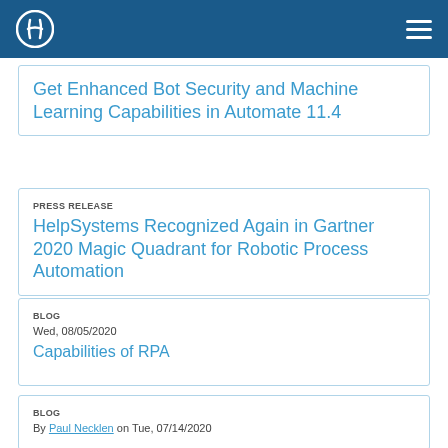HelpSystems navigation header
Get Enhanced Bot Security and Machine Learning Capabilities in Automate 11.4
PRESS RELEASE
HelpSystems Recognized Again in Gartner 2020 Magic Quadrant for Robotic Process Automation
BLOG
Wed, 08/05/2020
Capabilities of RPA
BLOG
By Paul Necklen on Tue, 07/14/2020